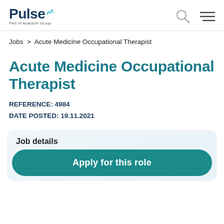[Figure (logo): Pulse logo with wave icon and 'Part of Acacium Group' subtitle]
Jobs > Acute Medicine Occupational Therapist
Acute Medicine Occupational Therapist
REFERENCE: 4984
DATE POSTED: 19.11.2021
Job details
Apply for this role